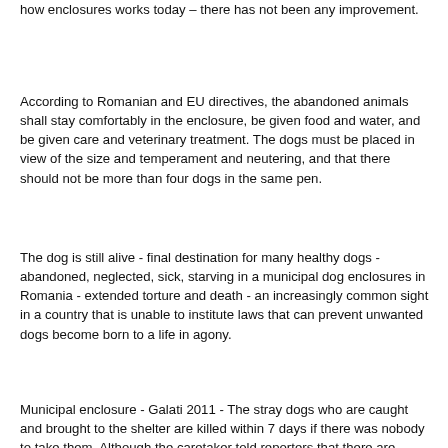how enclosures works today – there has not been any improvement.
According to Romanian and EU directives, the abandoned animals shall stay comfortably in the enclosure, be given food and water, and be given care and veterinary treatment. The dogs must be placed in view of the size and temperament and neutering, and that there should not be more than four dogs in the same pen.
The dog is still alive - final destination for many healthy dogs - abandoned, neglected, sick, starving in a municipal dog enclosures in Romania - extended torture and death - an increasingly common sight in a country that is unable to institute laws that can prevent unwanted dogs become born to a life in agony.
Municipal enclosure - Galati 2011 - The stray dogs who are caught and brought to the shelter are killed within 7 days if there was nobody to take them. Although the caretaker told reporters that there are many